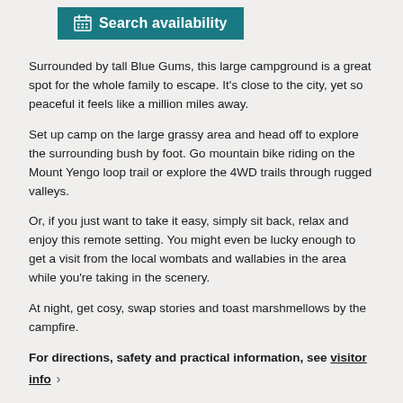[Figure (other): Search availability button with calendar icon on teal background]
Surrounded by tall Blue Gums, this large campground is a great spot for the whole family to escape. It's close to the city, yet so peaceful it feels like a million miles away.
Set up camp on the large grassy area and head off to explore the surrounding bush by foot. Go mountain bike riding on the Mount Yengo loop trail or explore the 4WD trails through rugged valleys.
Or, if you just want to take it easy, simply sit back, relax and enjoy this remote setting. You might even be lucky enough to get a visit from the local wombats and wallabies in the area while you're taking in the scenery.
At night, get cosy, swap stories and toast marshmellows by the campfire.
For directions, safety and practical information, see visitor info ›
Subscribe to Naturescapes
Subscribe to our Naturescapes e-newsletter which is packed